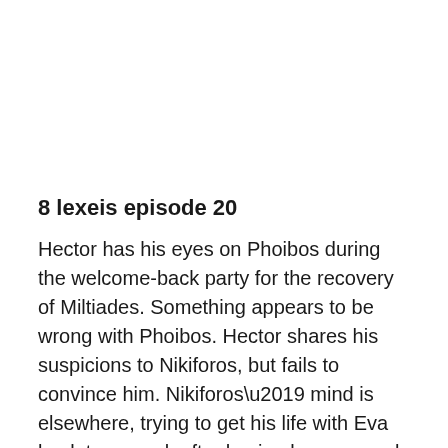8 lexeis episode 20
Hector has his eyes on Phoibos during the welcome-back party for the recovery of Miltiades. Something appears to be wrong with Phoibos. Hector shares his suspicions to Nikiforos, but fails to convince him. Nikiforos’ mind is elsewhere, trying to get his life with Eva back to normal, after having been wrongly accused by Olympia.